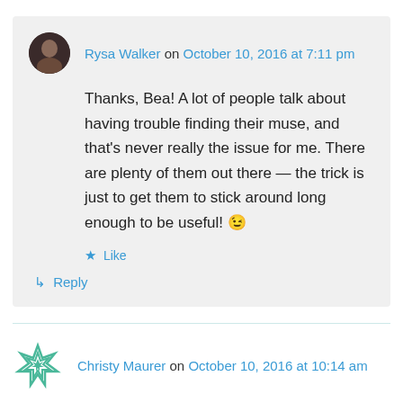Rysa Walker on October 10, 2016 at 7:11 pm
Thanks, Bea! A lot of people talk about having trouble finding their muse, and that's never really the issue for me. There are plenty of them out there — the trick is just to get them to stick around long enough to be useful! 😉
★ Like
↳ Reply
Christy Maurer on October 10, 2016 at 10:14 am
I loved Psych! This sounds like a very good